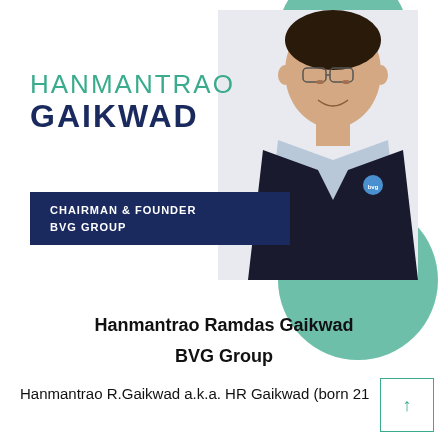[Figure (photo): Profile banner of Hanmantrao Gaikwad — man in dark blazer with light blue shirt, overlaid with teal/green decorative circles, name text 'HANMANTRAO GAIKWAD', and a dark navy title bar reading 'CHAIRMAN & FOUNDER BVG GROUP']
Hanmantrao Ramdas Gaikwad
BVG Group
Hanmantrao R.Gaikwad a.k.a. HR Gaikwad (born 21